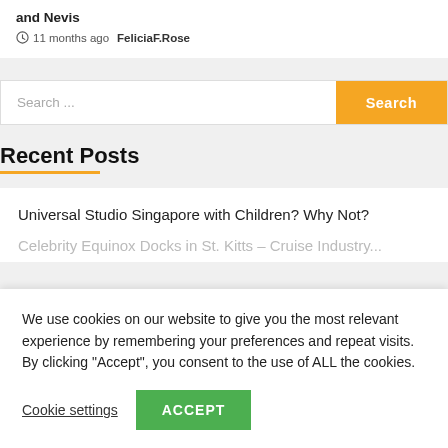and Nevis
11 months ago  FeliciaF.Rose
Search ...
Recent Posts
Universal Studio Singapore with Children? Why Not?
Celebrity Equinox Docks in St. Kitts – Cruise Industry...
We use cookies on our website to give you the most relevant experience by remembering your preferences and repeat visits. By clicking "Accept", you consent to the use of ALL the cookies.
Cookie settings
ACCEPT